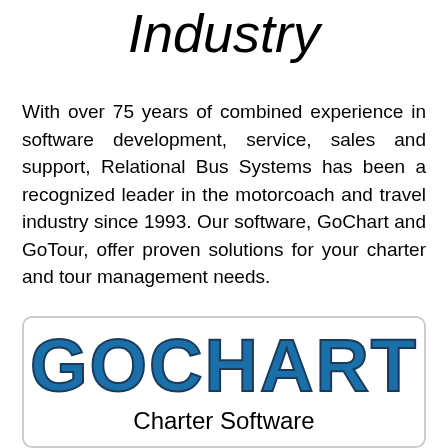Industry
With over 75 years of combined experience in software development, service, sales and support, Relational Bus Systems has been a recognized leader in the motorcoach and travel industry since 1993. Our software, GoChart and GoTour, offer proven solutions for your charter and tour management needs.
[Figure (logo): GOCHART logo in bold teal/dark blue large text with 'Charter Software' subtitle below, inside a rounded rectangle box]